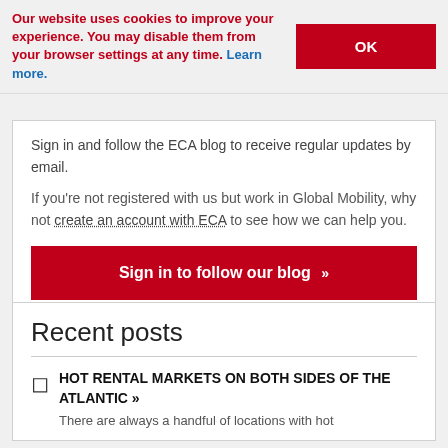Our website uses cookies to improve your experience. You may disable them from your browser settings at any time. Learn more.
Sign in and follow the ECA blog to receive regular updates by email.
If you're not registered with us but work in Global Mobility, why not create an account with ECA to see how we can help you.
Sign in to follow our blog »
Recent posts
HOT RENTAL MARKETS ON BOTH SIDES OF THE ATLANTIC »
There are always a handful of locations with hot